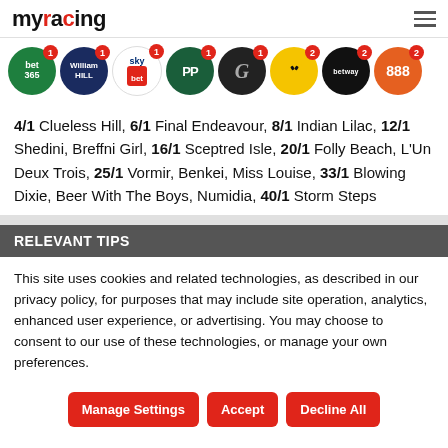myracing
[Figure (logo): Row of bookmaker icons: bet365, William Hill, Sky Bet, Paddy Power, G (GambetDC), Betfair, Betway, 888 — each with badge numbers 1 or 2]
4/1 Clueless Hill, 6/1 Final Endeavour, 8/1 Indian Lilac, 12/1 Shedini, Breffni Girl, 16/1 Sceptred Isle, 20/1 Folly Beach, L'Un Deux Trois, 25/1 Vormir, Benkei, Miss Louise, 33/1 Blowing Dixie, Beer With The Boys, Numidia, 40/1 Storm Steps
RELEVANT TIPS
This site uses cookies and related technologies, as described in our privacy policy, for purposes that may include site operation, analytics, enhanced user experience, or advertising. You may choose to consent to our use of these technologies, or manage your own preferences.
Manage Settings | Accept | Decline All